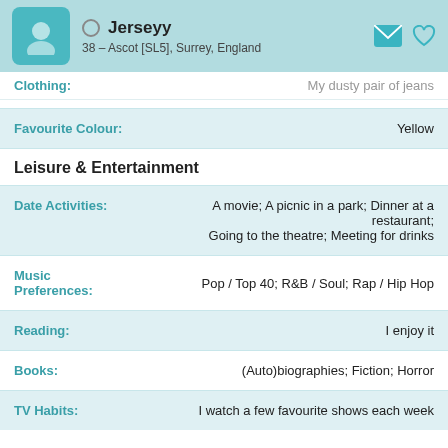Jerseyy – 38 – Ascot [SL5], Surrey, England
Clothing: My dusty pair of jeans
| Field | Value |
| --- | --- |
| Favourite Colour: | Yellow |
| Date Activities: | A movie; A picnic in a park; Dinner at a restaurant; Going to the theatre; Meeting for drinks |
| Music Preferences: | Pop / Top 40; R&B / Soul; Rap / Hip Hop |
| Reading: | I enjoy it |
| Books: | (Auto)biographies; Fiction; Horror |
| TV Habits: | I watch a few favourite shows each week |
Leisure & Entertainment